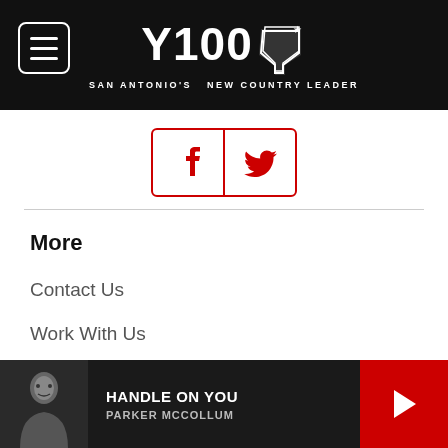Y100 San Antonio's New Country Leader
[Figure (screenshot): Social media icon buttons for Facebook and Twitter, red bordered boxes]
More
Contact Us
Work With Us
Contest Rules
EEOC Statement
Public File Contacts
HANDLE ON YOU - PARKER MCCOLLUM